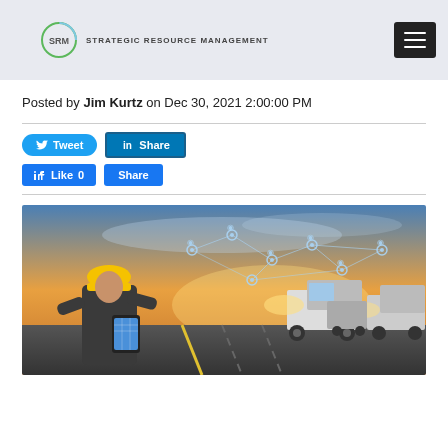SRM STRATEGIC RESOURCE MANAGEMENT
Posted by Jim Kurtz on Dec 30, 2021 2:00:00 PM
[Figure (screenshot): Social sharing buttons: Tweet (Twitter), Share (LinkedIn), Like 0 (Facebook), Share (Facebook)]
[Figure (photo): A construction worker in a yellow hard hat holding a tablet, with trucks on a highway and a connected network overlay in the sky]